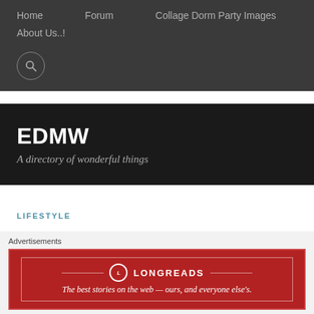Home   Forum   Collage Dorm Party Images
About Us..!
EDMW
A directory of wonderful things
LIFESTYLE
What is the College Dorm
Advertisements
[Figure (logo): Longreads advertisement banner: red background with Longreads logo and text 'The best stories on the web — ours, and everyone else's.']